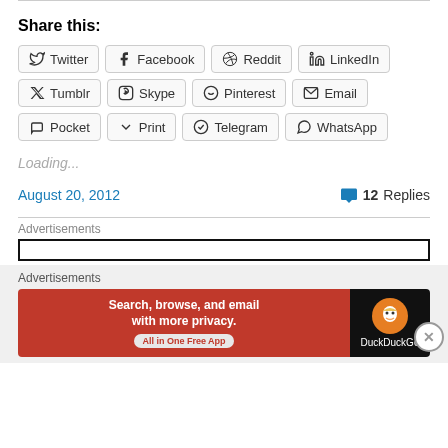Share this:
Twitter, Facebook, Reddit, LinkedIn, Tumblr, Skype, Pinterest, Email, Pocket, Print, Telegram, WhatsApp
Loading...
August 20, 2012
12 Replies
Advertisements
[Figure (screenshot): DuckDuckGo advertisement banner: Search, browse, and email with more privacy. All in One Free App.]
Advertisements